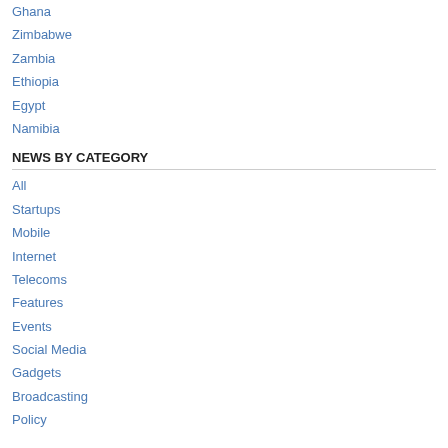Ghana
Zimbabwe
Zambia
Ethiopia
Egypt
Namibia
NEWS BY CATEGORY
All
Startups
Mobile
Internet
Telecoms
Features
Events
Social Media
Gadgets
Broadcasting
Policy
SOCIAL
Facebook
Twitter
Google Plus